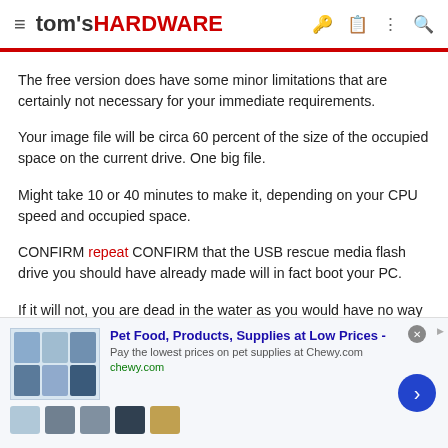tom's HARDWARE
The free version does have some minor limitations that are certainly not necessary for your immediate requirements.
Your image file will be circa 60 percent of the size of the occupied space on the current drive. One big file.
Might take 10 or 40 minutes to make it, depending on your CPU speed and occupied space.
CONFIRM repeat CONFIRM that the USB rescue media flash drive you should have already made will in fact boot your PC.
If it will not, you are dead in the water as you would have no way to boot your PC after removing your existing drive.
[Figure (screenshot): Advertisement banner for Chewy.com - Pet Food, Products, Supplies at Low Prices]